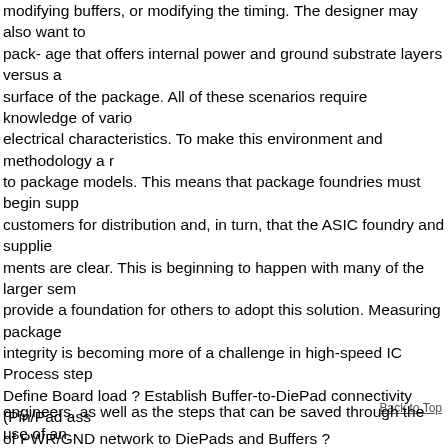modifying buffers, or modifying the timing. The designer may also want to pack- age that offers internal power and ground substrate layers versus a surface of the package. All of these scenarios require knowledge of vario electrical characteristics. To make this environment and methodology a r to package models. This means that package foundries must begin supp customers for distribution and, in turn, that the ASIC foundry and supplie ments are clear. This is beginning to happen with many of the larger sem provide a foundation for others to adopt this solution. Measuring package integrity is becoming more of a challenge in high-speed IC Process step Define Board load ? Establish Buffer-to-DiePad connectivity (Pin/Pad ass of PWR/GND network to DiePads and Buffers ? EstablishDietoPackageConnectivity(Drawwiresorconnectbristles) ? EstablishPkgtoBoardConnectivity(Matchnet_namesorconnectbristles) Re Read in DIE format ? Create DIE through spreadsheet ? Read in IC desi PDF file ? Create Pkg through "PKG generator" ? Read in Clip files or Cr electrical model (BrdModel, LPM, Package Model) ? Create scratch elec ReadinSpice interconnectmodel ?Createinterconnect modelonthefly ?Te RCVRs(Spice,IBIS, SigNoise,BSIM3,etc.) ? Read in buffer (Spice, IBIS, in PWR/GND network (SPICE/SE?) or create a defaultL PWR/GND netw Electrical environment Figure 3: This flowchart illustrates the design flow
engineers, as well as the steps that can be saved through the use of an